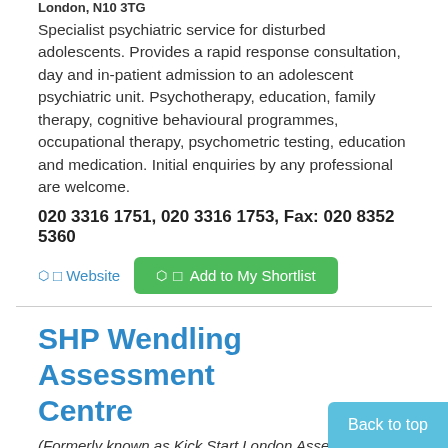London, N10 3TG
Specialist psychiatric service for disturbed adolescents. Provides a rapid response consultation, day and in-patient admission to an adolescent psychiatric unit. Psychotherapy, education, family therapy, cognitive behavioural programmes, occupational therapy, psychometric testing, education and medication. Initial enquiries by any professional are welcome.
020 3316 1751, 020 3316 1753, Fax: 020 8352 5360
Website
Add to My Shortlist
SHP Wendling Assessment Centre
(Formerly known as Kick Start London Assessment Centre)
Wendling Estate, 170 Haverstock Road, London, NW5 4QY
Young single homeless people who have ad...